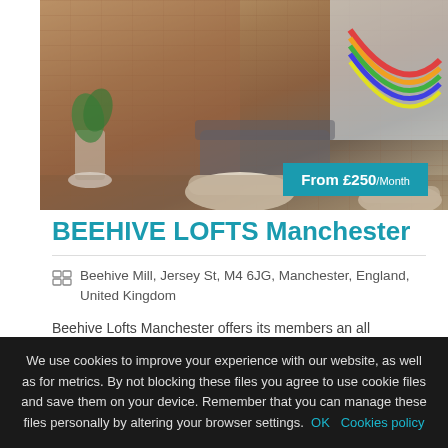[Figure (photo): Interior photo of a coworking/loft space with brick walls, hammock, poufs, sofa, and plants. Price badge reads 'From £250/Month']
BEEHIVE LOFTS Manchester
Beehive Mill, Jersey St, M4 6JG, Manchester, England, United Kingdom
Beehive Lofts Manchester offers its members an all inclusive cost that includes everything you might need, coworking spaces, meeting rooms, and a fun breakout area. The
We use cookies to improve your experience with our website, as well as for metrics. By not blocking these files you agree to use cookie files and save them on your device. Remember that you can manage these files personally by altering your browser settings. OK Cookies policy